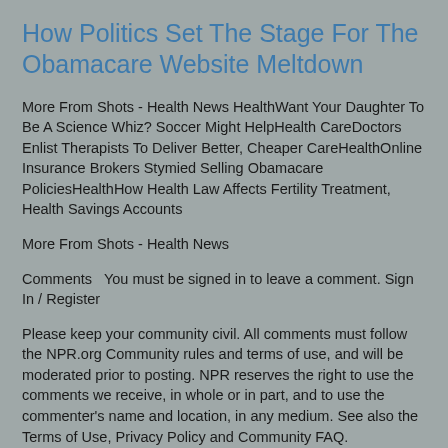How Politics Set The Stage For The Obamacare Website Meltdown
More From Shots - Health News HealthWant Your Daughter To Be A Science Whiz? Soccer Might HelpHealth CareDoctors Enlist Therapists To Deliver Better, Cheaper CareHealthOnline Insurance Brokers Stymied Selling Obamacare PoliciesHealthHow Health Law Affects Fertility Treatment, Health Savings Accounts
More From Shots - Health News
Comments   You must be signed in to leave a comment. Sign In / Register
Please keep your community civil. All comments must follow the NPR.org Community rules and terms of use, and will be moderated prior to posting. NPR reserves the right to use the comments we receive, in whole or in part, and to use the commenter's name and location, in any medium. See also the Terms of Use, Privacy Policy and Community FAQ.